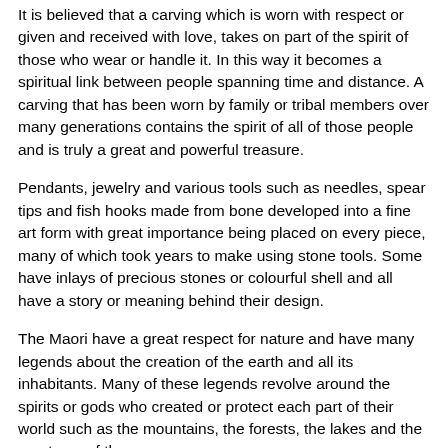It is believed that a carving which is worn with respect or given and received with love, takes on part of the spirit of those who wear or handle it. In this way it becomes a spiritual link between people spanning time and distance. A carving that has been worn by family or tribal members over many generations contains the spirit of all of those people and is truly a great and powerful treasure.
Pendants, jewelry and various tools such as needles, spear tips and fish hooks made from bone developed into a fine art form with great importance being placed on every piece, many of which took years to make using stone tools. Some have inlays of precious stones or colourful shell and all have a story or meaning behind their design.
The Maori have a great respect for nature and have many legends about the creation of the earth and all its inhabitants. Many of these legends revolve around the spirits or gods who created or protect each part of their world such as the mountains, the forests, the lakes and the creatures of the sea.
Most carvings combine elements from several areas of mythology which interact with each other to tell a story. Each